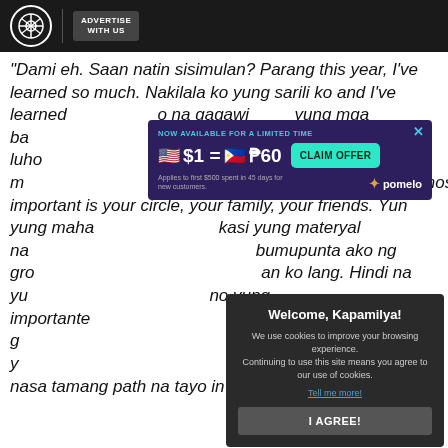ABS-CBN | ADVERTISE WITH US
"Dami eh. Saan natin sisimulan? Parang this year, I've learned so much. Nakilala ko yung sarili ko and I've learned [to] na gagawi[n ng sarili ko]... yung mga ba[gs,] bags, luho m[ost] most important is your circle, your family, your friends. Yun yung maha[l] kasi yung materyal na [bumupunta] bumupunta ako ng gro[und] an ko lang. Hindi na yu[ng] no yung importante[s] ar eh. It is to have a g[ood circle, to] keep your sanity and y[our h] riority natin. So nasa tamang path na tayo in the next coming years,"
[Figure (screenshot): Advertisement overlay: NOW AVAILABLE FOR A LIMITED TIME - $1 = P60 CLAIM OFFER - Applies to first $500 spent in 45 days for new customers. Pomelo branding.]
[Figure (screenshot): Cookie consent modal: Welcome, Kapamilya! We use cookies to improve your browsing experience. Continuing to use this site means you agree to our use of cookies. Tell me more! I AGREE!]
she said during the  Tiger Crackers Kitchen Snack Hacks launch event last November 14.